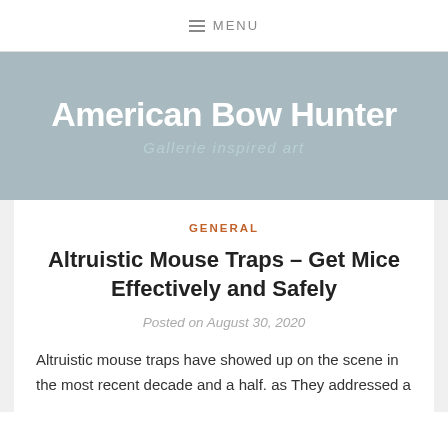≡ MENU
American Bow Hunter
Gallerie inspired art
GENERAL
Altruistic Mouse Traps – Get Mice Effectively and Safely
Posted on August 30, 2020
Altruistic mouse traps have showed up on the scene in the most recent decade and a half. as They addressed a